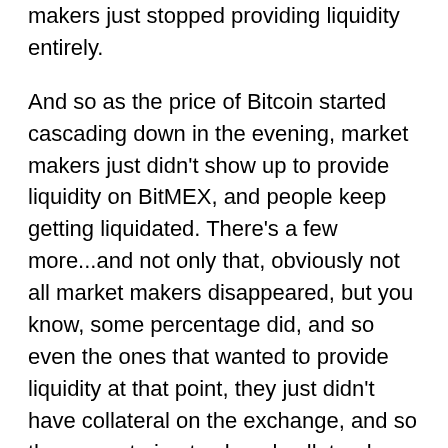makers just stopped providing liquidity entirely.
And so as the price of Bitcoin started cascading down in the evening, market makers just didn't show up to provide liquidity on BitMEX, and people keep getting liquidated. There's a few more...and not only that, obviously not all market makers disappeared, but you know, some percentage did, and so even the ones that wanted to provide liquidity at that point, they just didn't have collateral on the exchange, and so they were trying to shovel collateral from Coinbase, Bifnance, Huobi, wherever else they had collateral, they were trying to send it to BitMEX, but the blockchain was slow, and so they couldn't get collateral to BitMEX, and so they couldn't actually provide liquidity.
And so as a result of all of that, there ended up being a point where there was 200 million dollars of outstanding liquidations that needed to occur,